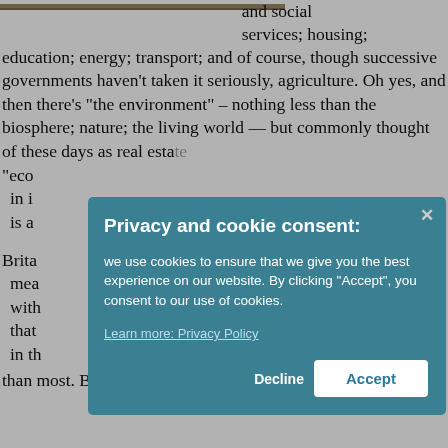[Figure (photo): Partial photo strip at top left of page, showing what appears to be an outdoor scene]
and social services; housing; education; energy; transport; and of course, though successive governments haven't taken it seriously, agriculture. Oh yes, and then there's "the environment" – nothing less than the biosphere; nature; the living world — but commonly thought of these days as real esta... "eco... in i... is a... Brita... mea... with... that... in th... than most. But all that successive governments from
[Figure (screenshot): Privacy and cookie consent modal dialog overlay on top of the article text. Modal has teal/dark cyan background. Title: 'Privacy and cookie consent:'. Body text: 'we use cookies to ensure that we give you the best experience on our website. By clicking "Accept", you consent to our use of cookies.' Link: 'Learn more: Privacy Policy'. Buttons: 'Decline' and 'Accept'.]